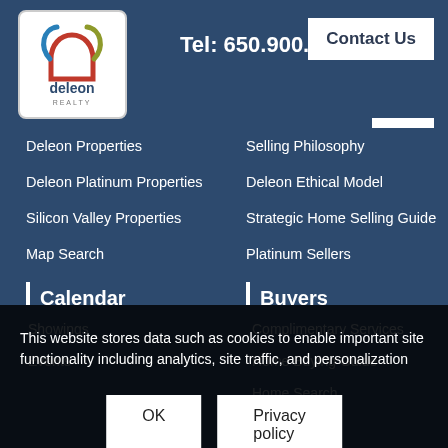[Figure (logo): DeLeon Realty logo with colorful house outline and text 'deleon REALTY']
Tel: 650.900.7000
Contact Us
[Figure (other): Hamburger menu icon (three horizontal lines)]
Deleon Properties
Deleon Platinum Properties
Silicon Valley Properties
Map Search
Calendar
Open House
Selling Philosophy
Deleon Ethical Model
Strategic Home Selling Guide
Platinum Sellers
Buyers
Complimentary Services
Showings
Events
Home Buying Guide
Home Search
This website stores data such as cookies to enable important site functionality including analytics, site traffic, and personalization
OK
Privacy policy